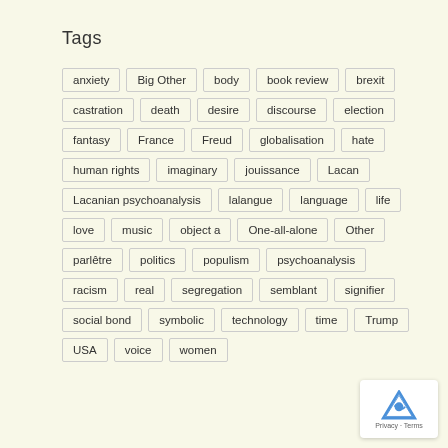Tags
anxiety
Big Other
body
book review
brexit
castration
death
desire
discourse
election
fantasy
France
Freud
globalisation
hate
human rights
imaginary
jouissance
Lacan
Lacanian psychoanalysis
lalangue
language
life
love
music
object a
One-all-alone
Other
parlêtre
politics
populism
psychoanalysis
racism
real
segregation
semblant
signifier
social bond
symbolic
technology
time
Trump
USA
voice
women